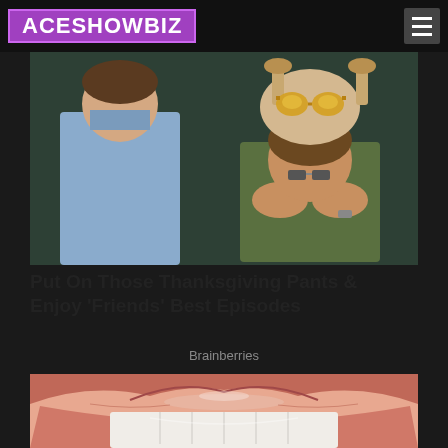ACESHOWBIZ
[Figure (photo): Scene from Friends TV show: person facing a woman who has a raw turkey with sunglasses on her head, covering her mouth with her hands]
Put On Those Thanksgiving Pants & Enjoy 'Friends' Best Episodes
Brainberries
[Figure (photo): Close-up macro photo of human lips and teeth]